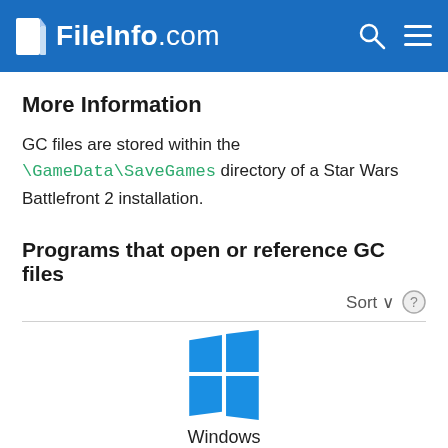FileInfo.com
More Information
GC files are stored within the \GameData\SaveGames directory of a Star Wars Battlefront 2 installation.
Programs that open or reference GC files
[Figure (logo): Windows logo (four blue squares arranged in a window shape) with label 'Windows' below]
Pandemic Studios Star Wars Battlefront II